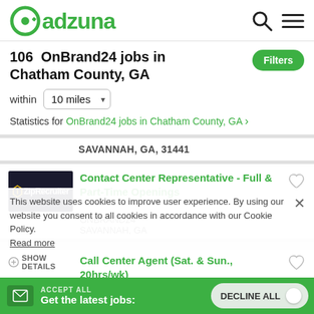adzuna
106 OnBrand24 jobs in Chatham County, GA
within 10 miles
Statistics for OnBrand24 jobs in Chatham County, GA
SAVANNAH, GA, 31441
Contact Center Representative - Full & Part-Time Openings
ONBRAND24
SAVANNAH, GA
This website uses cookies to improve user experience. By using our website you consent to all cookies in accordance with our Cookie Policy. Read more
SHOW DETAILS Call Center Agent (Sat. & Sun., 20hrs/wk)
ACCEPT ALL
Get the latest jobs:
DECLINE ALL